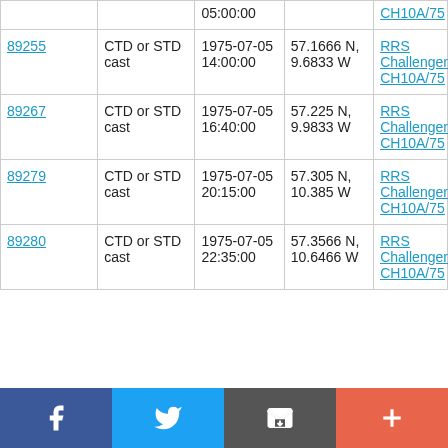|  |  | 05:00:00 |  | CH10A/75 |
| 89255 | CTD or STD cast | 1975-07-05 14:00:00 | 57.1666 N, 9.6833 W | RRS Challenger CH10A/75 |
| 89267 | CTD or STD cast | 1975-07-05 16:40:00 | 57.225 N, 9.9833 W | RRS Challenger CH10A/75 |
| 89279 | CTD or STD cast | 1975-07-05 20:15:00 | 57.305 N, 10.385 W | RRS Challenger CH10A/75 |
| 89280 | CTD or STD cast | 1975-07-05 22:35:00 | 57.3566 N, 10.6466 W | RRS Challenger CH10A/75 |